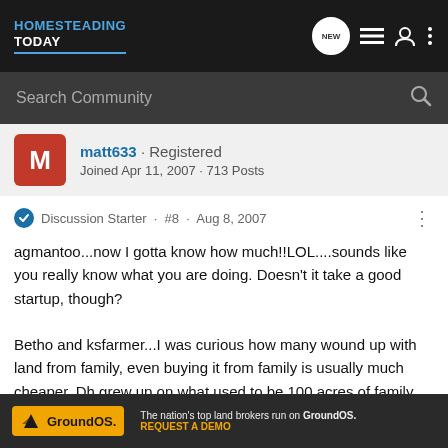HOMESTEADING TODAY
Search Community
matt633 · Registered
Joined Apr 11, 2007 · 713 Posts
Discussion Starter · #8 · Aug 8, 2007
agmantoo...now I gotta know how much!!LOL....sounds like you really know what you are doing. Doesn't it take a good startup, though?

Betho and ksfarmer...I was curious how many wound up with land from family, even buying it from family is usually much cheaper. Dh grew up on what used to be 100 acres of family land. His grandfather then had 10 acre tracts... h's mom a has
[Figure (screenshot): GroundOS advertisement banner: 'The nation's top land brokers run on GroundOS. REQUEST A DEMO']